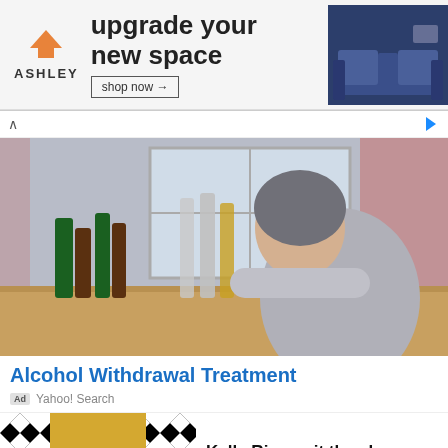[Figure (screenshot): Ashley Furniture advertisement banner: logo with orange house icon, text 'upgrade your new space', 'shop now' button, sofa image on right]
[Figure (photo): Woman with head down on table surrounded by many alcohol bottles, appearing distressed]
Alcohol Withdrawal Treatment
Ad  Yahoo! Search
[Figure (photo): Kelly Ripa photo with black and white geometric diamond pattern background, blonde woman smiling]
Kelly Ripa quit the show
Ad  LIVE9